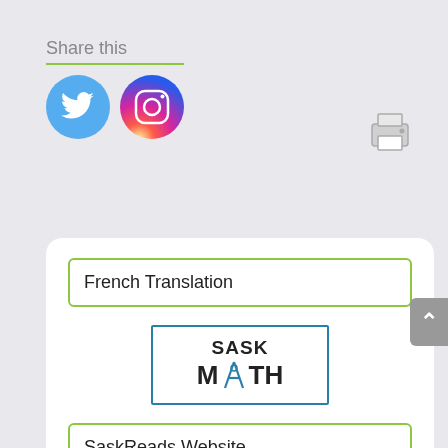Share this
[Figure (logo): Twitter circular icon (light blue background with white bird logo)]
[Figure (logo): Instagram circular icon (gradient purple/pink/orange background with camera logo)]
[Figure (other): Printer icon (gray line-art style printer)]
French Translation
[Figure (logo): SaskMath logo: black bold text SASK on top, MATH below with a compass figure replacing the A, inside a teal/blue rectangular border]
SaskReads Website